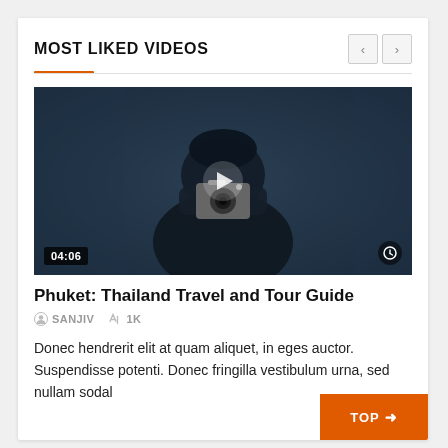MOST LIKED VIDEOS
[Figure (photo): Person in black hoodie and beanie holding a camera, taking a photo in a dimly lit blue-toned room. Video thumbnail with play button overlay, showing timestamp 04:06 in bottom-left corner.]
Phuket: Thailand Travel and Tour Guide
SANJIV  1K
Donec hendrerit elit at quam aliquet, in eges auctor. Suspendisse potenti. Donec fringilla vestibulum urna, sed nullam sodal...